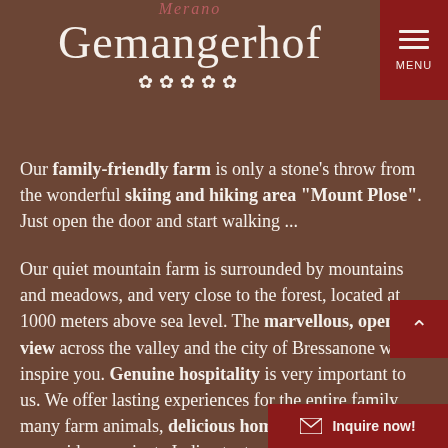Merano
Gemangerhof
Our family-friendly farm is only a stone's throw from the wonderful skiing and hiking area "Mount Plose". Just open the door and start walking ...
Our quiet mountain farm is surrounded by mountains and meadows, and very close to the forest, located at 1000 meters above sea level. The marvellous, open view across the valley and the city of Bressanone will inspire you. Genuine hospitality is very important to us. We offer lasting experiences for the entire family, many farm animals, delicious home-grown products, pony rides, a private Indian tent and much more.